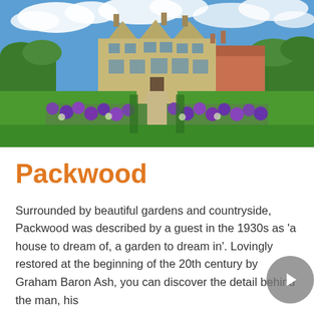[Figure (photo): Aerial view of Packwood House, a Tudor manor, seen from the formal garden with symmetrical borders of purple allium flowers and a central gravel path leading to the house, under a blue sky with white clouds.]
Packwood
Surrounded by beautiful gardens and countryside, Packwood was described by a guest in the 1930s as 'a house to dream of, a garden to dream in'. Lovingly restored at the beginning of the 20th century by Graham Baron Ash, you can discover the detail behind the man, his